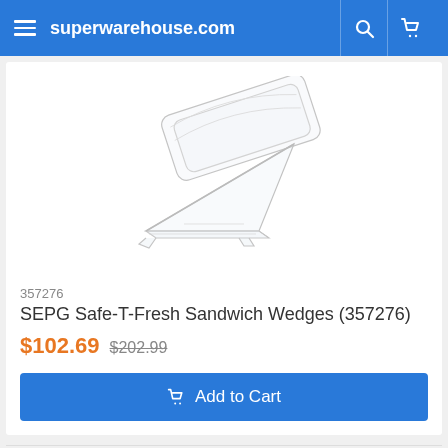superwarehouse.com
[Figure (photo): Clear plastic triangular sandwich wedge container, transparent, tilted at an angle on white background.]
357276
SEPG Safe-T-Fresh Sandwich Wedges (357276)
$102.69  $202.99
Add to Cart
1  2  3  4  5  ...  13  14  15